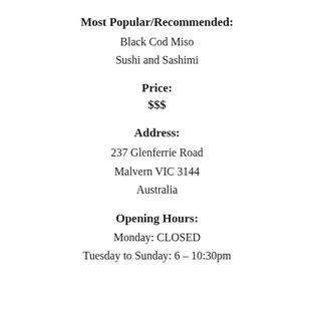Most Popular/Recommended:
Black Cod Miso
Sushi and Sashimi
Price:
$$$
Address:
237 Glenferrie Road
Malvern VIC 3144
Australia
Opening Hours:
Monday: CLOSED
Tuesday to Sunday: 6 – 10:30pm